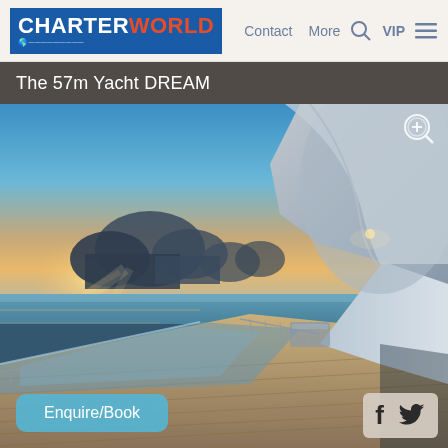CHARTERWORLD  Contact  More  VIP
The 57m Yacht DREAM
[Figure (photo): Aerial view of a large 57m superyacht deck at sunset/dusk, showing teak deck, infinity pool, superstructure with curved overhang, ocean horizon with dramatic clouds, warm orange and blue sky tones.]
Enquire/Book